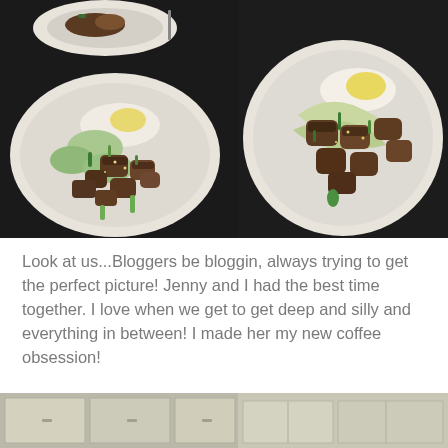[Figure (photo): Two food photos side by side showing plates of stir-fried mushrooms and vegetables with egg on white plates]
Look at us...Bloggers be bloggin, always trying to get the perfect picture!  Jenny and I had the best time together.  I love when we get to get deep and silly and everything in between!  I made her my new coffee obsession!
[Figure (photo): Partial view of bottom photos showing kitchen or room interior scenes]